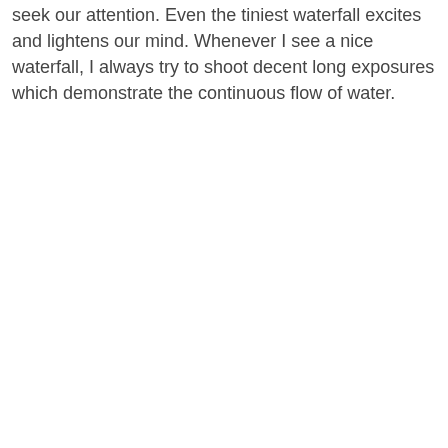seek our attention. Even the tiniest waterfall excites and lightens our mind. Whenever I see a nice waterfall, I always try to shoot decent long exposures which demonstrate the continuous flow of water.